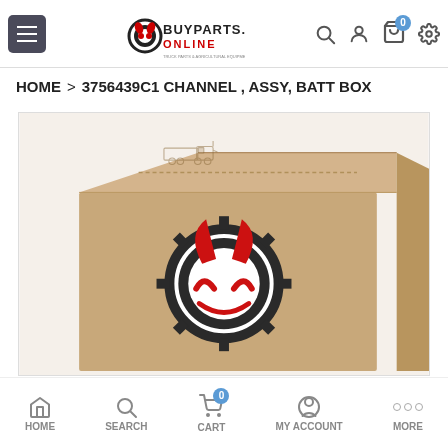BUYPARTS.ONLINE navigation header with hamburger menu, logo, search, account, cart (0), and settings icons
HOME > 3756439C1 CHANNEL , ASSY, BATT BOX
[Figure (photo): Cardboard box with a truck line drawing on top and the BuyParts.Online logo (red flame devil horns over a dark gear with white circle) printed on the front face]
HOME   SEARCH   CART (0)   MY ACCOUNT   MORE